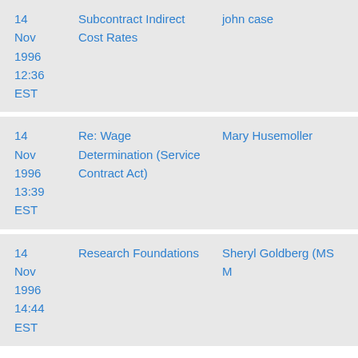| Date | Subject | Author |
| --- | --- | --- |
| 14 Nov 1996 12:36 EST | Subcontract Indirect Cost Rates | john case |
| 14 Nov 1996 13:39 EST | Re: Wage Determination (Service Contract Act) | Mary Husemoller |
| 14 Nov 1996 14:44 EST | Research Foundations | Sheryl Goldberg (MS M |